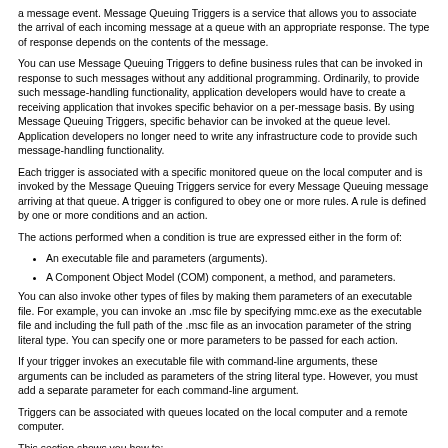a message event. Message Queuing Triggers is a service that allows you to associate the arrival of each incoming message at a queue with an appropriate response. The type of response depends on the contents of the message.
You can use Message Queuing Triggers to define business rules that can be invoked in response to such messages without any additional programming. Ordinarily, to provide such message-handling functionality, application developers would have to create a receiving application that invokes specific behavior on a per-message basis. By using Message Queuing Triggers, specific behavior can be invoked at the queue level. Application developers no longer need to write any infrastructure code to provide such message-handling functionality.
Each trigger is associated with a specific monitored queue on the local computer and is invoked by the Message Queuing Triggers service for every Message Queuing message arriving at that queue. A trigger is configured to obey one or more rules. A rule is defined by one or more conditions and an action.
The actions performed when a condition is true are expressed either in the form of:
An executable file and parameters (arguments).
A Component Object Model (COM) component, a method, and parameters.
You can also invoke other types of files by making them parameters of an executable file. For example, you can invoke an .msc file by specifying mmc.exe as the executable file and including the full path of the .msc file as an invocation parameter of the string literal type. You can specify one or more parameters to be passed for each action.
If your trigger invokes an executable file with command-line arguments, these arguments can be included as parameters of the string literal type. However, you must add a separate parameter for each command-line argument.
Triggers can be associated with queues located on the local computer and a remote computer.
This section shows you how to: